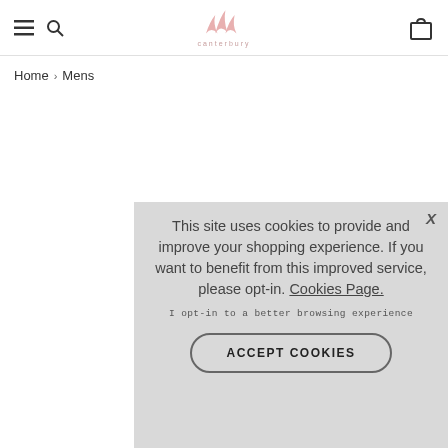Canterbury website header with hamburger menu, search icon, Canterbury logo, and shopping bag icon
Home > Mens
This site uses cookies to provide and improve your shopping experience. If you want to benefit from this improved service, please opt-in. Cookies Page.
I opt-in to a better browsing experience
ACCEPT COOKIES